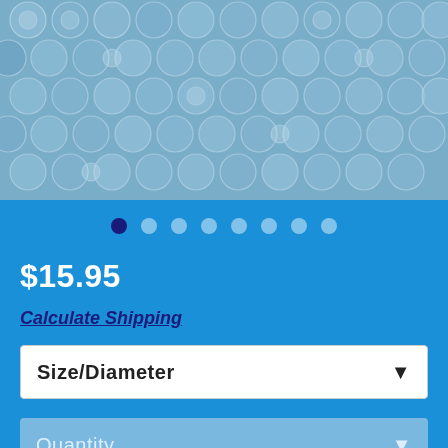[Figure (photo): Close-up photo of bubble wrap packaging material with blue tint, showing rows of small circular bubbles]
$15.95
Calculate Shipping
Size/Diameter
Quantity